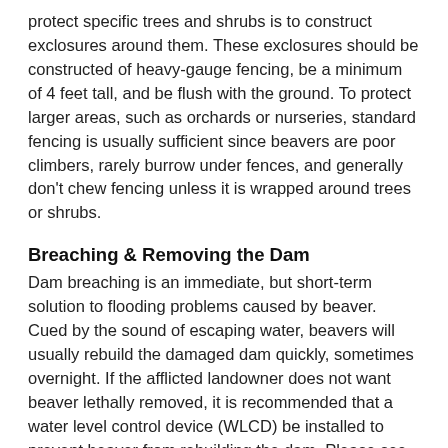protect specific trees and shrubs is to construct exclosures around them. These exclosures should be constructed of heavy-gauge fencing, be a minimum of 4 feet tall, and be flush with the ground. To protect larger areas, such as orchards or nurseries, standard fencing is usually sufficient since beavers are poor climbers, rarely burrow under fences, and generally don't chew fencing unless it is wrapped around trees or shrubs.
Breaching & Removing the Dam
Dam breaching is an immediate, but short-term solution to flooding problems caused by beaver. Cued by the sound of escaping water, beavers will usually rebuild the damaged dam quickly, sometimes overnight. If the afflicted landowner does not want beaver lethally removed, it is recommended that a water level control device (WLCD) be installed to prevent beaver from rebuilding the dam. Please see below for further information on WLCDs. Permits are needed to disturb or tear open a beaver dam or beaver lodge for any reason. Dismantling or breaching a dam can result in severe flooding for property adjacent and downstream of the dam